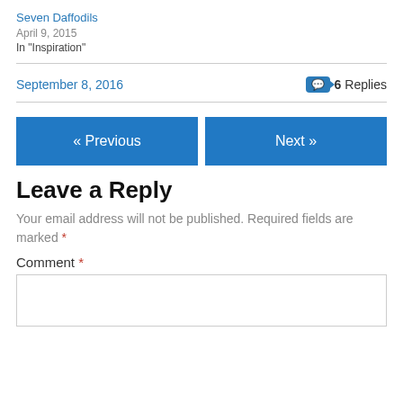Seven Daffodils
April 9, 2015
In "Inspiration"
September 8, 2016   💬 6 Replies
« Previous
Next »
Leave a Reply
Your email address will not be published. Required fields are marked *
Comment *